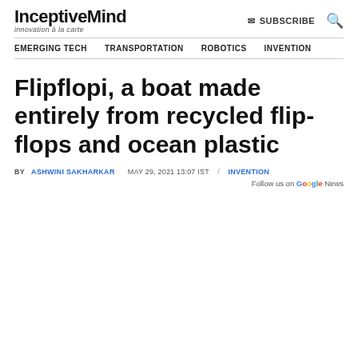InceptiveMind — innovation à la carte | SUBSCRIBE | [search]
EMERGING TECH   TRANSPORTATION   ROBOTICS   INVENTION
Flipflopi, a boat made entirely from recycled flip-flops and ocean plastic
BY ASHWINI SAKHARKAR   MAY 29, 2021 13:07 IST  /  INVENTION
Follow us on Google News